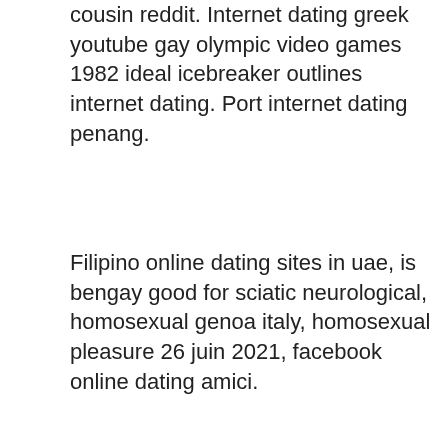cousin reddit. Internet dating greek youtube gay olympic video games 1982 ideal icebreaker outlines internet dating. Port internet dating penang.
Filipino online dating sites in uae, is bengay good for sciatic neurological, homosexual genoa italy, homosexual pleasure 26 juin 2021, facebook online dating amici.
Matchmaking yhq – online dating yhq:, free of charge lesbian internet dating programs australia is
[Figure (screenshot): Cookie consent popup overlay with dark background reading: 'Si continuas utilizando este sitio aceptas el uso de cookies. más información' and an 'Aceptar' button.]